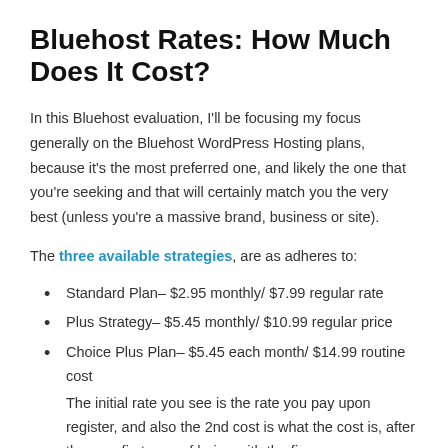Bluehost Rates: How Much Does It Cost?
In this Bluehost evaluation, I'll be focusing my focus generally on the Bluehost WordPress Hosting plans, because it's the most preferred one, and likely the one that you're seeking and that will certainly match you the very best (unless you're a massive brand, business or site).
The three available strategies, are as adheres to:
Standard Plan– $2.95 monthly/ $7.99 regular rate
Plus Strategy– $5.45 monthly/ $10.99 regular price
Choice Plus Plan– $5.45 each month/ $14.99 routine cost The initial rate you see is the rate you pay upon register, and also the 2nd cost is what the cost is, after the very first year of being with the firm.